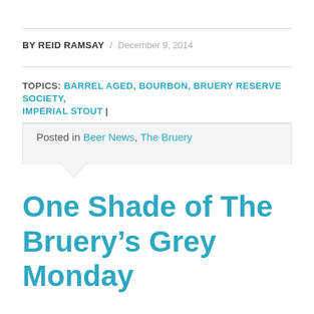BY REID RAMSAY / December 9, 2014
TOPICS: BARREL AGED, BOURBON, BRUERY RESERVE SOCIETY, IMPERIAL STOUT |
Posted in Beer News, The Bruery
One Shade of The Bruery's Grey Monday